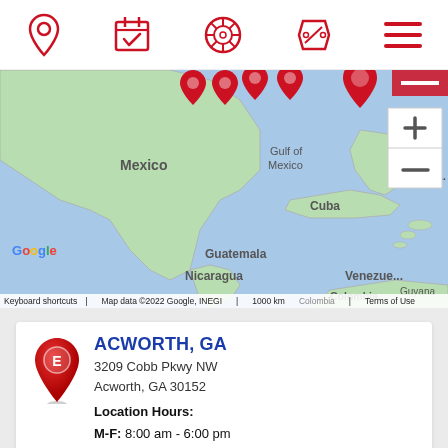[Figure (screenshot): Top navigation bar with five red icons: location pin, calendar with checkmark, wheel/tire, percent tag, and hamburger menu]
[Figure (map): Google Maps screenshot showing central America region including Mexico, Cuba, Guatemala, Nicaragua, Venezuela, Gulf of Mexico, Caribbean Sea. Red location pins visible at top. Map zoom controls (+/-) at right side.]
Keyboard shortcuts | Map data ©2022 Google, INEGI | 1000 km | Terms of Use
[Figure (logo): Red Econo Lube / Express location pin icon with red E logo inside]
ACWORTH, GA
3209 Cobb Pkwy NW
Acworth, GA 30152
Location Hours:
M-F: 8:00 am - 6:00 pm
Sat: 8:00 am - 5:00 pm
Sun: Closed